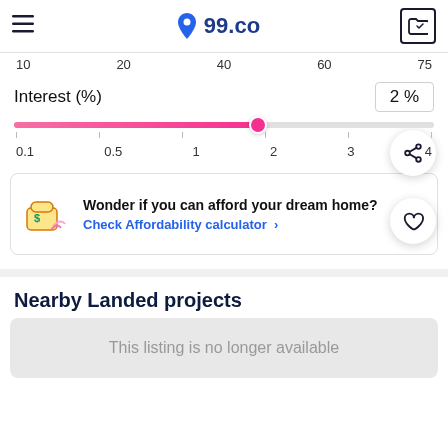99.co
10   20   40   60   75
Interest (%)
2 %
[Figure (other): Pink horizontal range slider with thumb at position 2, range 0.1 to 4]
0.1   0.5   1   2   3   4
Wonder if you can afford your dream home? Check Affordability calculator >
Nearby Landed projects
This listing is no longer available